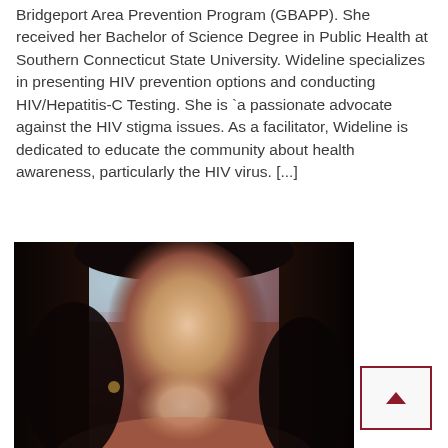Bridgeport Area Prevention Program (GBAPP). She received her Bachelor of Science Degree in Public Health at Southern Connecticut State University. Wideline specializes in presenting HIV prevention options and conducting HIV/Hepatitis-C Testing. She is `a passionate advocate against the HIV stigma issues. As a facilitator, Wideline is dedicated to educate the community about health awareness, particularly the HIV virus. [...]
[Figure (photo): Portrait photo of a young Black woman with long dark hair, smiling, with a blurred reddish-brown background]